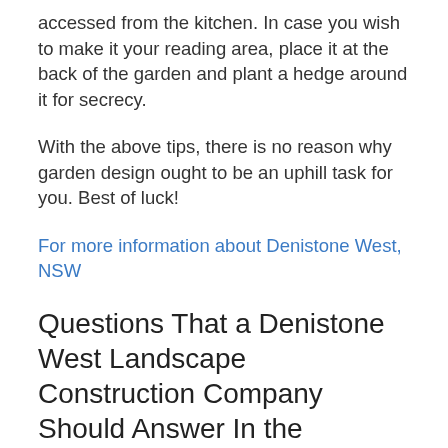accessed from the kitchen. In case you wish to make it your reading area, place it at the back of the garden and plant a hedge around it for secrecy.
With the above tips, there is no reason why garden design ought to be an uphill task for you. Best of luck!
For more information about Denistone West, NSW
Questions That a Denistone West Landscape Construction Company Should Answer In the Affirmative